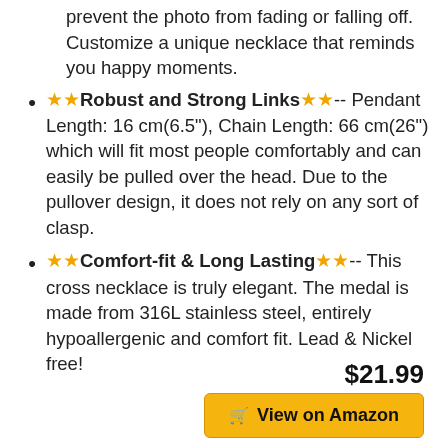prevent the photo from fading or falling off. Customize a unique necklace that reminds you happy moments.
★★Robust and Strong Links★★-- Pendant Length: 16 cm(6.5"), Chain Length: 66 cm(26") which will fit most people comfortably and can easily be pulled over the head. Due to the pullover design, it does not rely on any sort of clasp.
★★Comfort-fit & Long Lasting★★-- This cross necklace is truly elegant. The medal is made from 316L stainless steel, entirely hypoallergenic and comfort fit. Lead & Nickel free!
$21.99
View on Amazon